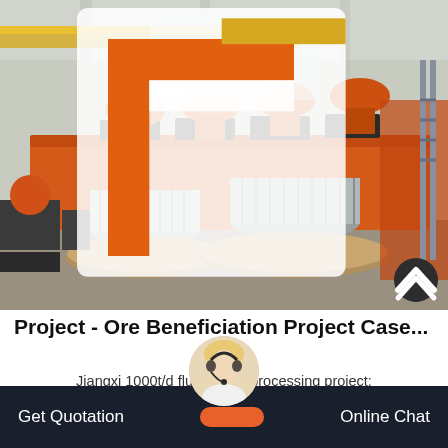[Figure (photo): Industrial ore beneficiation facility interior showing large orange flotation machines/cells with silver cylindrical components (impellers/stators) in foreground on a factory floor. Orange logo mark overlaid top-left corner.]
Project - Ore Beneficiation Project Case...
Jiangxi 1000t/d fluorite ore processing project:
Get Quotation   [agent chat button]   Online Chat